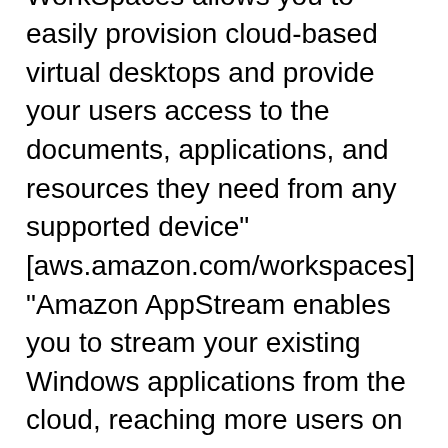WorkSpaces is a fully managed, secure desktop computing service which runs on the AWS cloud. Amazon WorkSpaces allows you to easily provision cloud-based virtual desktops and provide your users access to the documents, applications, and resources they need from any supported device" [aws.amazon.com/workspaces] "Amazon AppStream enables you to stream your existing Windows applications from the cloud, reaching more users on more devices, without code modifications. With Amazon AppStream, your application will be deployed and rendered on AWS infrastructure and the output is streamed to mass-market devices, such as personal computers, tablets, and mobile phones." [aws.amazon.com/appstream] The AWS icons example "Design elements - AWS Business Productivity, AWS Desktop and App Streaming" is included in the AWS Architecture Diagrams solution from the Computer and Networks area of ConceptDraw Solution Park.